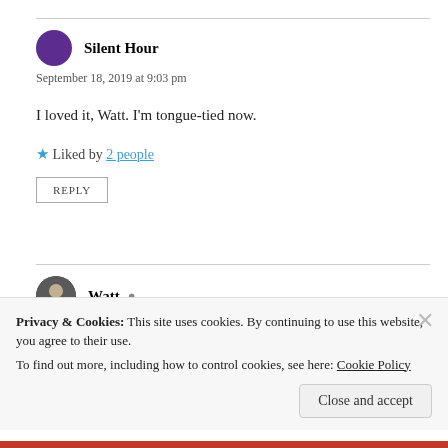Silent Hour
September 18, 2019 at 9:03 pm
I loved it, Watt. I'm tongue-tied now.
Liked by 2 people
REPLY
Watt
Privacy & Cookies: This site uses cookies. By continuing to use this website, you agree to their use. To find out more, including how to control cookies, see here: Cookie Policy
Close and accept